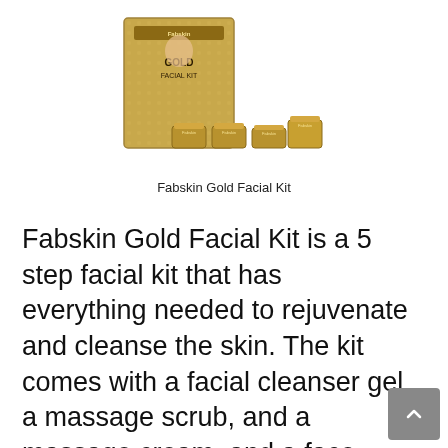[Figure (photo): Product photo of Fabskin Gold Facial Kit showing the gold-colored box set with multiple jars/containers arranged in front of it, and a woman's face on the packaging]
Fabskin Gold Facial Kit
Fabskin Gold Facial Kit is a 5 step facial kit that has everything needed to rejuvenate and cleanse the skin. The kit comes with a facial cleanser gel, a massage scrub, and a massage cream, and a face mask.